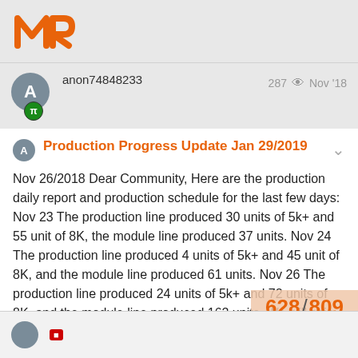MR logo header bar
anon74848233   287  Nov '18
Production Progress Update Jan 29/2019
Nov 26/2018 Dear Community, Here are the production daily report and production schedule for the last few days: Nov 23 The production line produced 30 units of 5k+ and 55 unit of 8K, the module line produced 37 units. Nov 24 The production line produced 4 units of 5k+ and 45 unit of 8K, and the module line produced 61 units. Nov 26 The production line produced 24 units of 5k+ and 72 units of 8K, and the module line produced 162 units. We will ship out next batch this week, and we will u...
628 / 809